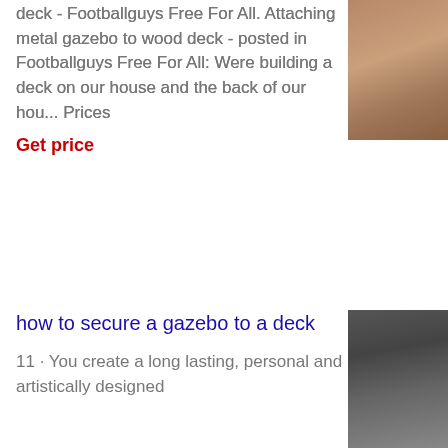deck - Footballguys Free For All. Attaching metal gazebo to wood deck - posted in Footballguys Free For All: Were building a deck on our house and the back of our hou... Prices
Get price
[Figure (photo): Photo of wooden deck flooring with horizontal planks, warm brown tone]
how to secure a gazebo to a deck
11 · You create a long lasting, personal and artistically designed
[Figure (photo): Photo of a metal gazebo frame attached to a deck, showing metal brackets and wood decking]